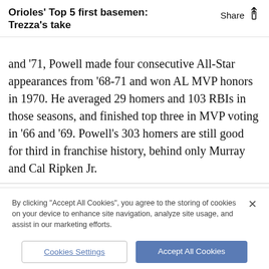Orioles' Top 5 first basemen: Trezza's take
and '71, Powell made four consecutive All-Star appearances from '68-71 and won AL MVP honors in 1970. He averaged 29 homers and 103 RBIs in those seasons, and finished top three in MVP voting in ‘66 and '69. Powell’s 303 homers are still good for third in franchise history, behind only Murray and Cal Ripken Jr.
By clicking “Accept All Cookies”, you agree to the storing of cookies on your device to enhance site navigation, analyze site usage, and assist in our marketing efforts.
Cookies Settings
Accept All Cookies